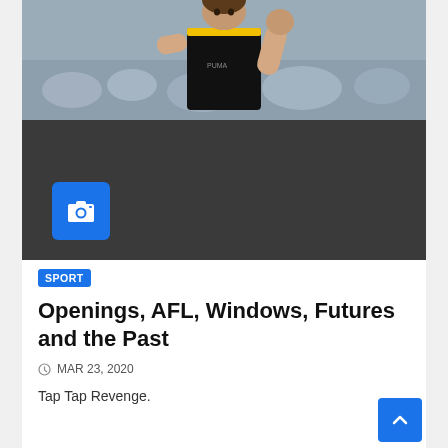[Figure (photo): AFL player in black and yellow Richmond Tigers jersey with fist raised, crowd in background. Lower portion is a dark grey overlay with a camera/photo icon button.]
SPORT
Openings, AFL, Windows, Futures and the Past
MAR 23, 2020
Tap Tap Revenge.